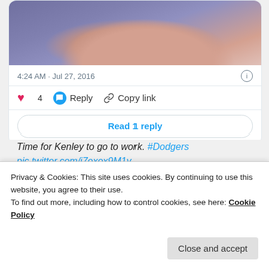[Figure (photo): Close-up photo of a person's face (lower portion), wearing a blue/purple shirt, blurred selfie-style]
4:24 AM · Jul 27, 2016
♥ 4   Reply   Copy link
Read 1 reply
Time for Kenley to go to work. #Dodgers pic.twitter.com/j7exox9M1y
— Todd Munson (@themunson) July 27, 2016
Privacy & Cookies: This site uses cookies. By continuing to use this website, you agree to their use.
To find out more, including how to control cookies, see here: Cookie Policy
Close and accept